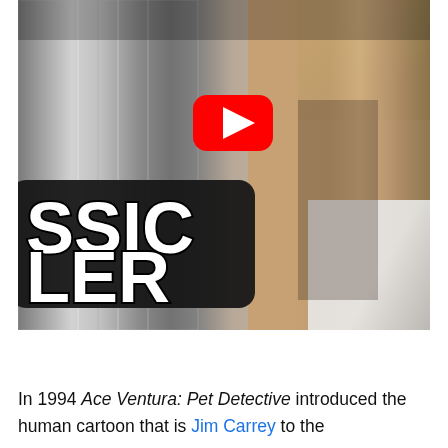[Figure (screenshot): Video thumbnail showing a movie scene with large bold text 'SSIC' and 'LER' on a dark rounded rectangle overlay on the left, and a YouTube play button in the center. The background shows a person near a metallic car door with greenery.]
In 1994 Ace Ventura: Pet Detective introduced the human cartoon that is Jim Carrey to the